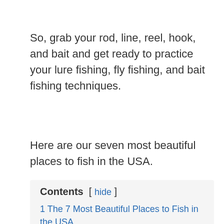So, grab your rod, line, reel, hook, and bait and get ready to practice your lure fishing, fly fishing, and bait fishing techniques.
Here are our seven most beautiful places to fish in the USA.
Contents [ hide ]
1 The 7 Most Beautiful Places to Fish in the USA